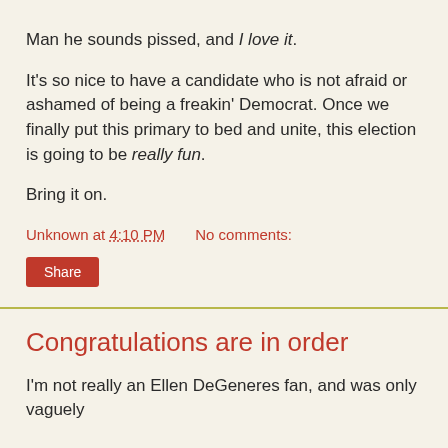Man he sounds pissed, and I love it.
It's so nice to have a candidate who is not afraid or ashamed of being a freakin' Democrat. Once we finally put this primary to bed and unite, this election is going to be really fun.
Bring it on.
Unknown at 4:10 PM    No comments:
Congratulations are in order
I'm not really an Ellen DeGeneres fan, and was only vaguely